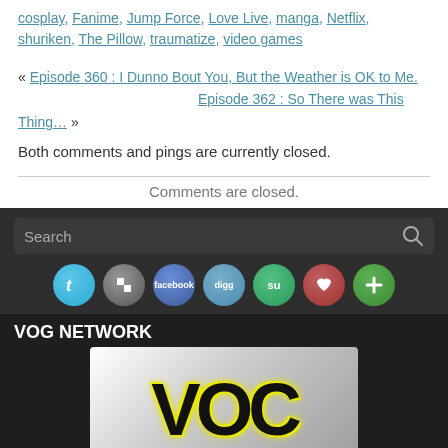cosplay, Fanime, Jump Force, Love Live, manga, Netflix, shuriken, The Pillow, traumatize, video games
« Episode 360 : I Dunno Bout You, But the Weather is OK to Me.
Episode 362 : So There was This Thing… »
Both comments and pings are currently closed.
Comments are closed.
[Figure (screenshot): Dark sidebar with search bar, social media icon buttons (Twitter, Delicious, Facebook, Digg, StumbleUpon, heart, plus), VOG Network section header, VOC Voice of Geeks Network logo image with caption 'A VOG Network Affiliated Podcast', and social media icon buttons at bottom.]